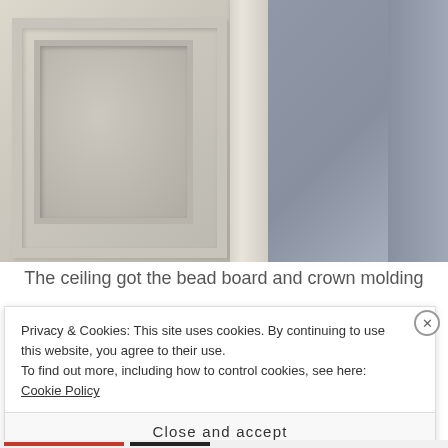[Figure (photo): Close-up photo of a white paneled interior door with molding trim, next to a door frame and a blue-gray painted wall]
The ceiling got the bead board and crown molding
Privacy & Cookies: This site uses cookies. By continuing to use this website, you agree to their use.
To find out more, including how to control cookies, see here: Cookie Policy
Close and accept